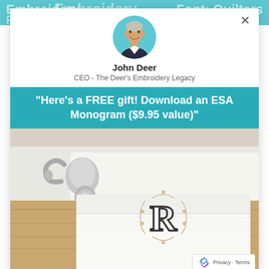Embroidery Font: Quilters
[Figure (photo): Circular avatar photo of John Deer, a middle-aged man smiling, wearing a dark blazer, set against a teal circular background]
John Deer
CEO - The Deer's Embroidery Legacy
"Here's a FREE gift! Download an ESA Monogram ($9.95 value)"
[Figure (photo): Photo of a white folded towel with an embroidered monogram letter R in decorative style, placed on a wooden surface next to a bathroom bathtub with silver faucet fixtures]
Privacy · Terms